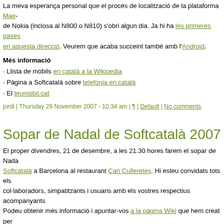La meva esperança personal que el procés de localització de la plataforma Maemo de Nokia (inclosa al N800 o N810) s'obri algun dia. Ja hi ha les primeres pases en aquesta direcció. Veurem que acaba succeint també amb l'Android.
Més informació
· Llista de mòbils en català a la Wikipedia
· Pàgina a Softcatalà sobre telefonia en català
· El teumòbil.cat
jordi | Thursday 29 November 2007 - 10:34 am | ¶ | Default | No comments
Sopar de Nadal de Softcatalà 2007
El proper divendres, 21 de desembre, a les 21.30 hores farem el sopar de Nadal de Softcatalà a Barcelona al restaurant Can Culleretes. Hi esteu convidats tots els col·laboradors, simpatitzants i usuaris amb els vostres respectius acompanyants. Podeu obtenir més informació i apuntar-vos a la pàgina Wiki que hem creat per l'ocasió.
Per qualsevol dubte em podeu escriure al correu electrònic jmas arrova softcatala.org.
jordi | Wednesday 28 November 2007 - 11:00 am | ¶ | Default | No comments
Participation in conferences during Decemb